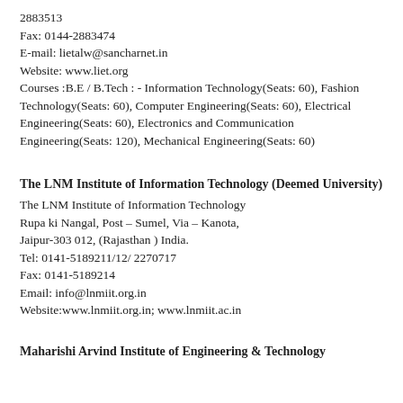2883513
Fax: 0144-2883474
E-mail: lietalw@sancharnet.in
Website: www.liet.org
Courses :B.E / B.Tech : - Information Technology(Seats: 60), Fashion Technology(Seats: 60), Computer Engineering(Seats: 60), Electrical Engineering(Seats: 60), Electronics and Communication Engineering(Seats: 120), Mechanical Engineering(Seats: 60)
The LNM Institute of Information Technology (Deemed University)
The LNM Institute of Information Technology
Rupa ki Nangal, Post – Sumel, Via – Kanota,
Jaipur-303 012, (Rajasthan ) India.
Tel: 0141-5189211/12/ 2270717
Fax: 0141-5189214
Email: info@lnmiit.org.in
Website:www.lnmiit.org.in; www.lnmiit.ac.in
Maharishi Arvind Institute of Engineering & Technology